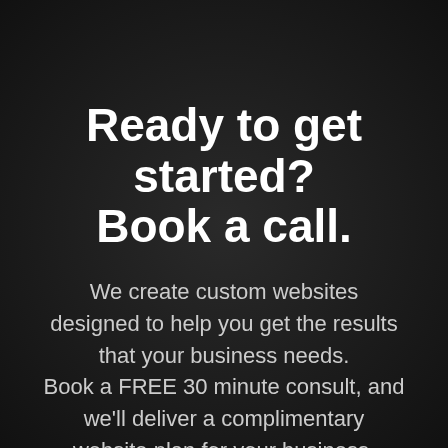Ready to get started? Book a call.
We create custom websites designed to help you get the results that your business needs. Book a FREE 30 minute consult, and we'll deliver a complimentary website plan for your business.
[Figure (other): Green rounded button at bottom of page]